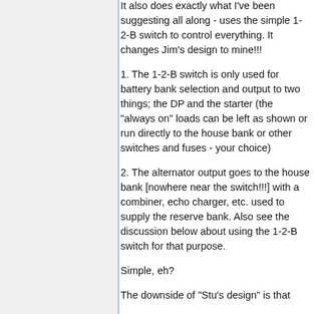It also does exactly what I've been suggesting all along - uses the simple 1-2-B switch to control everything. It changes Jim's design to mine!!!
1. The 1-2-B switch is only used for battery bank selection and output to two things; the DP and the starter (the "always on" loads can be left as shown or run directly to the house bank or other switches and fuses - your choice)
2. The alternator output goes to the house bank [nowhere near the switch!!!] with a combiner, echo charger, etc. used to supply the reserve bank. Also see the discussion below about using the 1-2-B switch for that purpose.
Simple, eh?
The downside of "Stu's design" is that